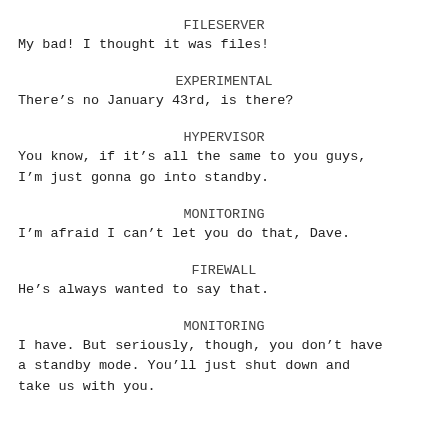FILESERVER
My bad! I thought it was files!
EXPERIMENTAL
There’s no January 43rd, is there?
HYPERVISOR
You know, if it’s all the same to you guys, I’m just gonna go into standby.
MONITORING
I’m afraid I can’t let you do that, Dave.
FIREWALL
He’s always wanted to say that.
MONITORING
I have. But seriously, though, you don’t have a standby mode. You’ll just shut down and take us with you.